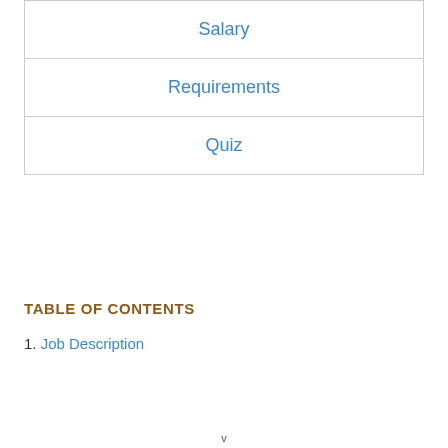| Salary |
| Requirements |
| Quiz |
TABLE OF CONTENTS
1. Job Description
v